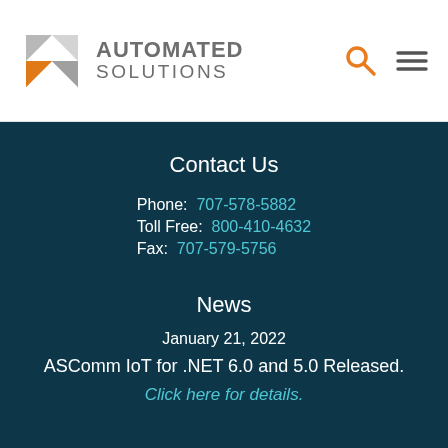[Figure (logo): Automated Solutions logo with geometric hexagonal icon in grey and orange, followed by bold text AUTOMATED SOLUTIONS]
Contact Us
Phone: 707-578-5882
Toll Free: 800-410-4632
Fax: 707-579-5756
News
January 21, 2022
ASComm IoT for .NET 6.0 and 5.0 Released.
Click here for details.